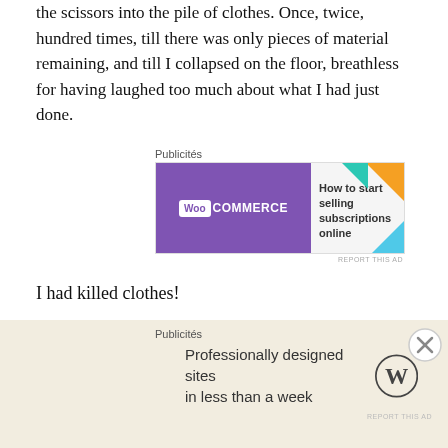the scissors into the pile of clothes. Once, twice, hundred times, till there was only pieces of material remaining, and till I collapsed on the floor, breathless for having laughed too much about what I had just done.
[Figure (screenshot): WooCommerce advertisement banner: 'How to start selling subscriptions online']
I had killed clothes!
Again, I asked God to forgive me for not donating those clothes.
And, last but not least, I made a ball of those past love stories and I kicked it in the sky, damn it!
[Figure (screenshot): WordPress advertisement: 'Professionally designed sites in less than a week']